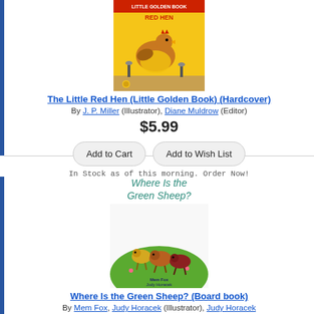[Figure (illustration): Book cover of The Little Red Hen (Little Golden Book), showing a hen in a yellow raincoat with shovels and a garden background]
The Little Red Hen (Little Golden Book) (Hardcover)
By J. P. Miller (Illustrator), Diane Muldrow (Editor)
$5.99
Add to Cart | Add to Wish List
In Stock as of this morning. Order Now!
[Figure (illustration): Book cover of Where Is the Green Sheep? showing colorful illustrated sheep running on a green hill, text 'Where Is the Green Sheep?' at top, authors Mem Fox and Judy Horacek at bottom]
Where Is the Green Sheep? (Board book)
By Mem Fox, Judy Horacek (Illustrator), Judy Horacek
$6.99